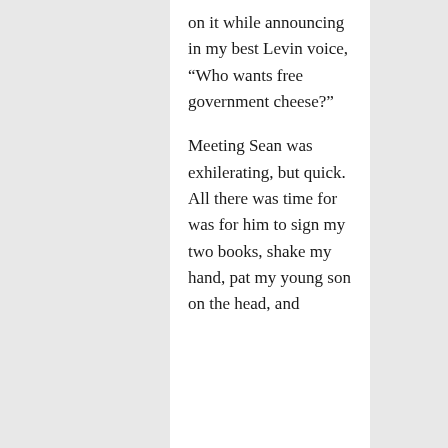on it while announcing in my best Levin voice, “Who wants free government cheese?”

Meeting Sean was exhilerating, but quick. All there was time for was for him to sign my two books, shake my hand, pat my young son on the head, and